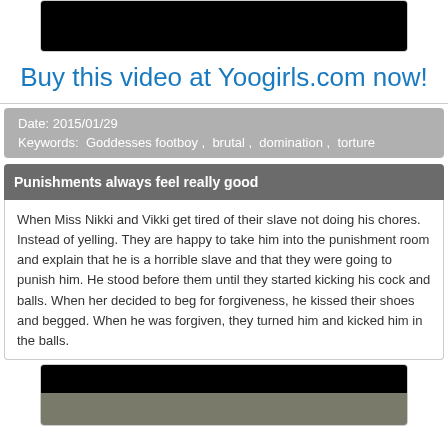[Figure (photo): Black rectangle video thumbnail at top]
Buy this video at Yoogirls.com now!
Date: 2015/01/29
Keywords: Goddesses footboy , brutal , domination , torture
Punishments always feel really good
When Miss Nikki and Vikki get tired of their slave not doing his chores. Instead of yelling. They are happy to take him into the punishment room and explain that he is a horrible slave and that they were going to punish him. He stood before them until they started kicking his cock and balls. When her decided to beg for forgiveness, he kissed their shoes and begged. When he was forgiven, they turned him and kicked him in the balls.
[Figure (photo): Video thumbnail at bottom showing partial image]